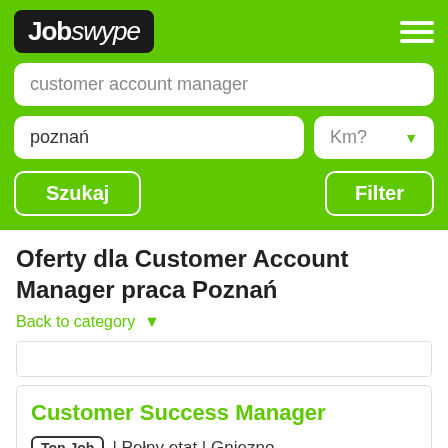[Figure (screenshot): Jobswype logo on dark background with hamburger menu icon]
customer account manager
poznań
Km?
Szukaj
Filter
Oferty dla Customer Account Manager praca Poznań
Back to category ▾
Customer Success Manager
Top Job | Pełny etat | Gniezno
Zobacz później